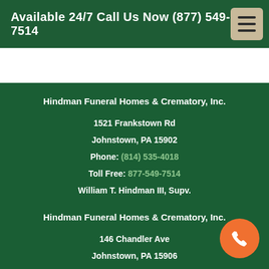Available 24/7 Call Us Now (877) 549-7514
Hindman Funeral Homes & Crematory, Inc.
1521 Frankstown Rd
Johnstown, PA 15902
Phone: (814) 535-4018
Toll Free: 877-549-7514
William T. Hindman III, Supv.
Hindman Funeral Homes & Crematory, Inc.
146 Chandler Ave
Johnstown, PA 15906
Phone: (814) 536-1770